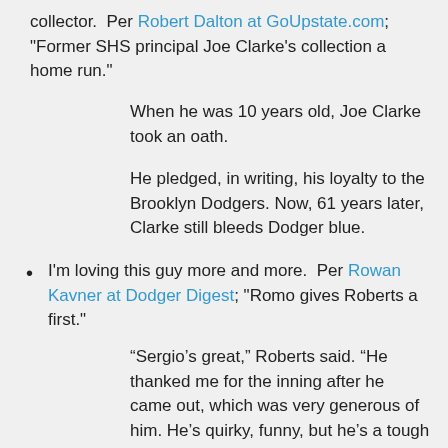collector.  Per Robert Dalton at GoUpstate.com; "Former SHS principal Joe Clarke's collection a home run."
When he was 10 years old, Joe Clarke took an oath.
He pledged, in writing, his loyalty to the Brooklyn Dodgers. Now, 61 years later, Clarke still bleeds Dodger blue.
I'm loving this guy more and more.  Per Rowan Kavner at Dodger Digest; "Romo gives Roberts a first."
“Sergio’s great,” Roberts said. “He thanked me for the inning after he came out, which was very generous of him. He’s quirky, funny, but he’s a tough competitor and I know he couldn’t be happier to be a Dodger. To get his first inning under his belt at